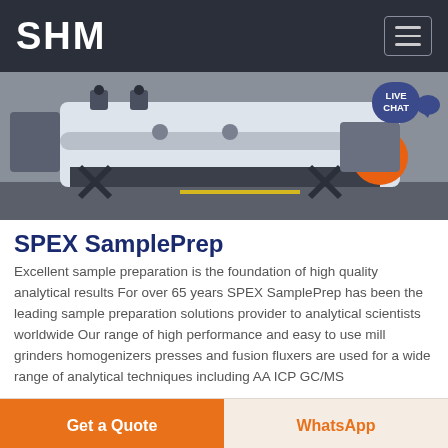SHM
[Figure (photo): Industrial machine/equipment photograph showing a large white mechanical device with hydraulic components, orange wheel visible on right, mounted on metal frame in a factory setting. Live Chat bubble visible in upper right corner.]
SPEX SamplePrep
Excellent sample preparation is the foundation of high quality analytical results For over 65 years SPEX SamplePrep has been the leading sample preparation solutions provider to analytical scientists worldwide Our range of high performance and easy to use mill grinders homogenizers presses and fusion fluxers are used for a wide range of analytical techniques including AA ICP GC/MS